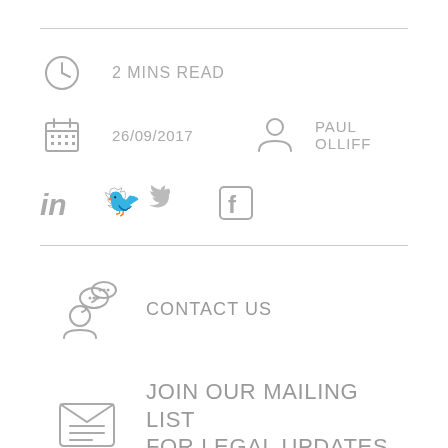2 MINS READ
26/09/2017
PAUL OLLIFF
[Figure (infographic): Social media icons: LinkedIn, Twitter, Facebook]
CONTACT US
JOIN OUR MAILING LIST FOR LEGAL UPDATES